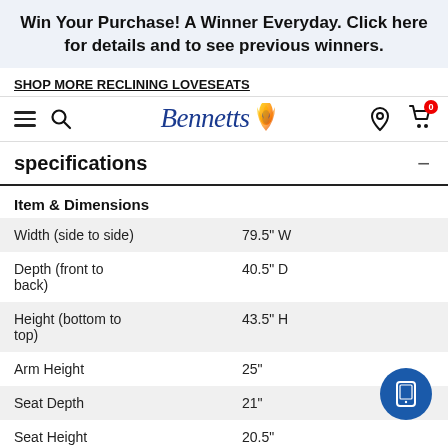Win Your Purchase! A Winner Everyday. Click here for details and to see previous winners.
SHOP MORE RECLINING LOVESEATS
[Figure (logo): Bennett's furniture store logo with stylized script text and flame icon]
specifications
| Item & Dimensions |  |
| --- | --- |
| Width (side to side) | 79.5" W |
| Depth (front to back) | 40.5" D |
| Height (bottom to top) | 43.5" H |
| Arm Height | 25" |
| Seat Depth | 21" |
| Seat Height | 20.5" |
Product